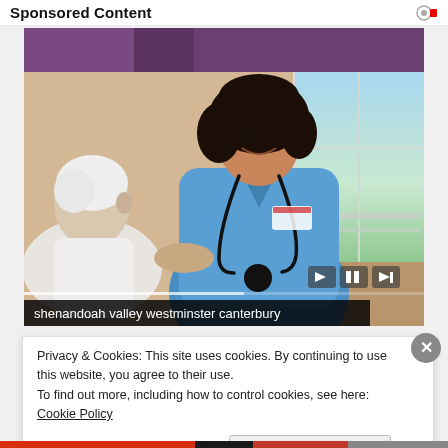Sponsored Content
[Figure (photo): A smiling female healthcare worker in blue scrubs with stethoscope sitting with an elderly patient. Video player with caption bar showing 'shenandoah valley westminster canterbury'.]
shenandoah valley westminster canterbury
Privacy & Cookies: This site uses cookies. By continuing to use this website, you agree to their use.
To find out more, including how to control cookies, see here: Cookie Policy
Close and accept